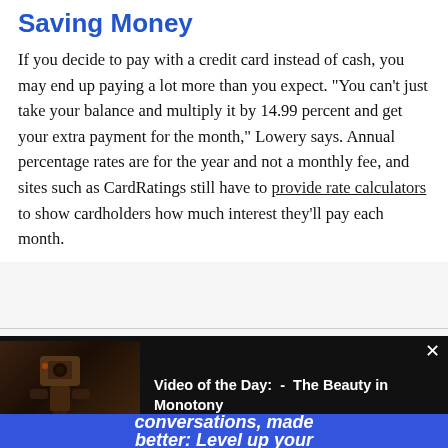Saving Money
If you decide to pay with a credit card instead of cash, you may end up paying a lot more than you expect. "You can't just take your balance and multiply it by 14.99 percent and get your extra payment for the month," Lowery says. Annual percentage rates are for the year and not a monthly fee, and sites such as CardRatings still have to provide rate calculators to show cardholders how much interest they'll pay each month.
[Figure (screenshot): Video of the Day widget showing a dark thumbnail image of a robot/machine and the title: 'Video of the Day: - The Beauty in Monotony'. White X close button in top right.]
conversations, made better: Level up your sitele commento